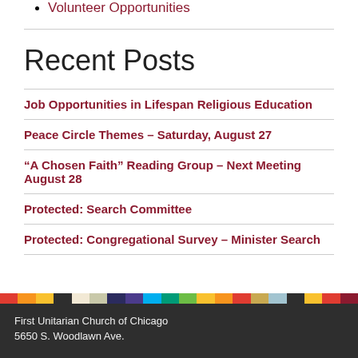Volunteer Opportunities
Recent Posts
Job Opportunities in Lifespan Religious Education
Peace Circle Themes – Saturday, August 27
“A Chosen Faith” Reading Group – Next Meeting August 28
Protected: Search Committee
Protected: Congregational Survey – Minister Search
First Unitarian Church of Chicago
5650 S. Woodlawn Ave.